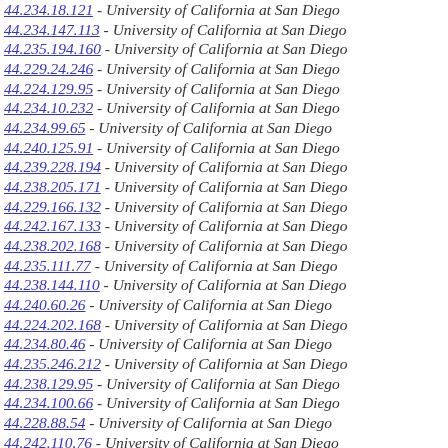44.234.18.121 - University of California at San Diego
44.234.147.113 - University of California at San Diego
44.235.194.160 - University of California at San Diego
44.229.24.246 - University of California at San Diego
44.224.129.95 - University of California at San Diego
44.234.10.232 - University of California at San Diego
44.234.99.65 - University of California at San Diego
44.240.125.91 - University of California at San Diego
44.239.228.194 - University of California at San Diego
44.238.205.171 - University of California at San Diego
44.229.166.132 - University of California at San Diego
44.242.167.133 - University of California at San Diego
44.238.202.168 - University of California at San Diego
44.235.111.77 - University of California at San Diego
44.238.144.110 - University of California at San Diego
44.240.60.26 - University of California at San Diego
44.224.202.168 - University of California at San Diego
44.234.80.46 - University of California at San Diego
44.235.246.212 - University of California at San Diego
44.238.129.95 - University of California at San Diego
44.234.100.66 - University of California at San Diego
44.228.88.54 - University of California at San Diego
44.242.110.76 - University of California at San Diego
44.235.241.207 - University of California at San Diego
44.239.89.55 - University of California at San Diego
44.236.105.71 - University of California at San Diego
44.240.1.223 - University of California at San Diego
44.232.249.215 - University of California at San Diego
44.227.224.190 - University of California at San Diego
44.233.233.199 - University of California at San Diego
44.240.154.120 - University of California at San Diego